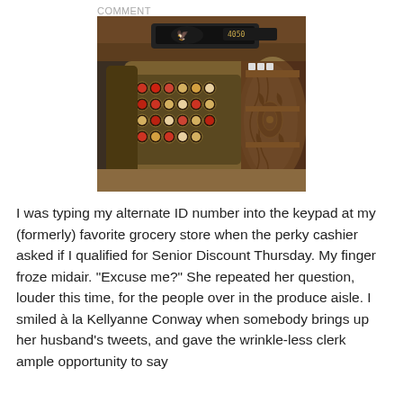COMMENT
[Figure (photo): A vintage ornate brass/bronze cash register with decorative engravings, circular keys with red and cream colored tops, displayed on a counter in what appears to be a shop interior with wooden cabinets in the background.]
I was typing my alternate ID number into the keypad at my (formerly) favorite grocery store when the perky cashier asked if I qualified for Senior Discount Thursday. My finger froze midair. "Excuse me?" She repeated her question, louder this time, for the people over in the produce aisle. I smiled à la Kellyanne Conway when somebody brings up her husband's tweets, and gave the wrinkle-less clerk ample opportunity to say